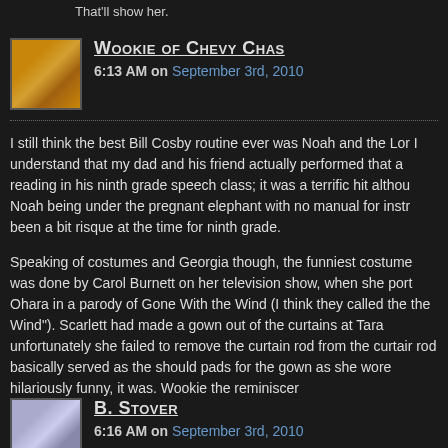That'll show her.
Wookie of Chevy Chas
6:13 AM on September 3rd, 2010
I still think the best Bill Cosby routine ever was Noah and the Lor I understand that my dad and his friend actually performed that a reading in his ninth grade speech class; it was a terrific hit althou Noah being under the pregnant elephant with no manual for instr been a bit risque at the time for ninth grade.

Speaking of costumes and Georgia though, the funniest costume was done by Carol Burnett on her television show, when she port Ohara in a parody of Gone With the Wind (I think they called the the Wind"). Scarlett had made a gown out of the curtains at Tara unfortunately she failed to remove the curtain rod from the curtair rod basically served as the should pads for the gown as she wore hilariously funny, it was. Wookie the reminiscer
B. Stover
6:16 AM on September 3rd, 2010